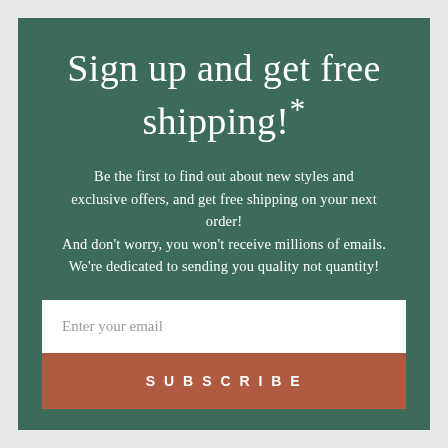Sign up and get free shipping!*
Be the first to find out about new styles and exclusive offers, and get free shipping on your next order!
And don't worry, you won't receive millions of emails. We're dedicated to sending you quality not quantity!
[Figure (other): Email signup form with a white input field labeled 'Enter your email' and a terracotta-colored SUBSCRIBE button below it]